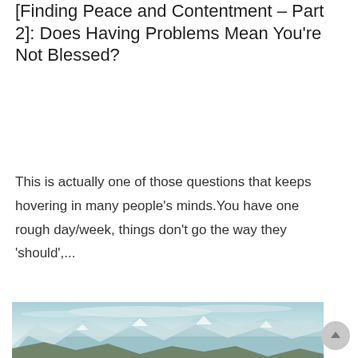[Finding Peace and Contentment – Part 2]: Does Having Problems Mean You're Not Blessed?
This is actually one of those questions that keeps hovering in many people's minds.You have one rough day/week, things don't go the way they 'should',...
[Figure (photo): A mountain landscape with snowy peaks under a cloudy sky, teal-toned photograph.]